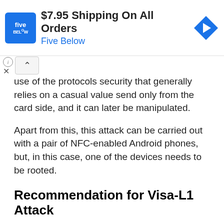[Figure (other): Five Below advertisement banner: logo, headline '$7.95 Shipping On All Orders', brand name 'Five Below', and a blue diamond arrow icon]
use of the protocols security that generally relies on a casual value send only from the card side, and it can later be manipulated.
Apart from this, this attack can be carried out with a pair of NFC-enabled Android phones, but, in this case, one of the devices needs to be rooted.
Recommendation for Visa-L1 Attack
This flaw is already reported to Visa, and they have affirmed that the Visa-L1 protocol is not yet implemented in commercial cards, so that's why